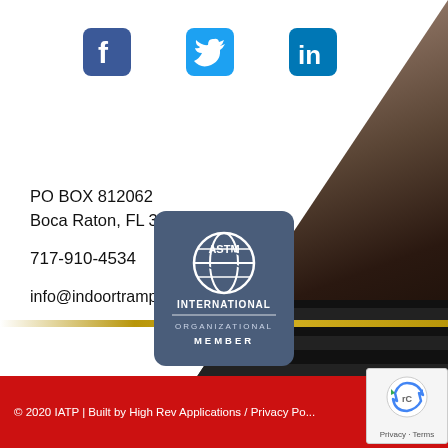[Figure (illustration): Social media icons: Facebook (blue square with white F), Twitter (light blue square with white bird), LinkedIn (dark blue square with white 'in')]
[Figure (photo): Background photo of trampoline park equipment with dark layered surfaces and a red/gold accent bar, occupying the top-right triangle of the page]
PO BOX 812062
Boca Raton, FL 33431
717-910-4534
info@indoortrampolineparks.org
[Figure (logo): ASTM International Organizational Member badge — dark blue/steel rounded rectangle with ASTM globe logo and text 'INTERNATIONAL ORGANIZATIONAL MEMBER']
© 2020 IATP | Built by High Rev Applications / Privacy Po...